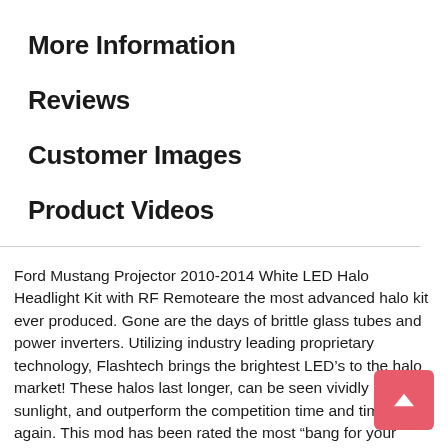More Information
Reviews
Customer Images
Product Videos
Ford Mustang Projector 2010-2014 White LED Halo Headlight Kit with RF Remoteare the most advanced halo kit ever produced. Gone are the days of brittle glass tubes and power inverters. Utilizing industry leading proprietary technology, Flashtech brings the brightest LED’s to the halo market! These halos last longer, can be seen vividly in direct sunlight, and outperform the competition time and time again. This mod has been rated the most “bang for your buck,” and is by far the easiest way to enhance the visual appeal of your car. Flashtech LED Halos are